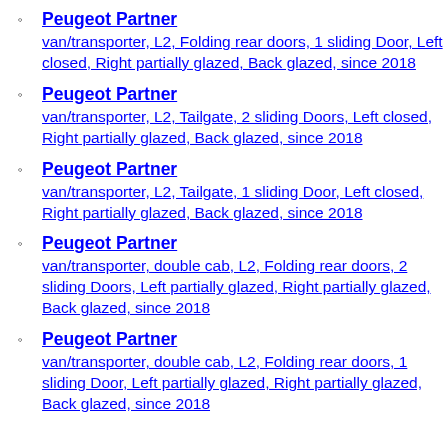glazed, since 2018
Peugeot Partner
van/transporter, L2, Folding rear doors, 1 sliding Door, Left closed, Right partially glazed, Back glazed, since 2018
Peugeot Partner
van/transporter, L2, Tailgate, 2 sliding Doors, Left closed, Right partially glazed, Back glazed, since 2018
Peugeot Partner
van/transporter, L2, Tailgate, 1 sliding Door, Left closed, Right partially glazed, Back glazed, since 2018
Peugeot Partner
van/transporter, double cab, L2, Folding rear doors, 2 sliding Doors, Left partially glazed, Right partially glazed, Back glazed, since 2018
Peugeot Partner
van/transporter, double cab, L2, Folding rear doors, 1 sliding Door, Left partially glazed, Right partially glazed, Back glazed, since 2018